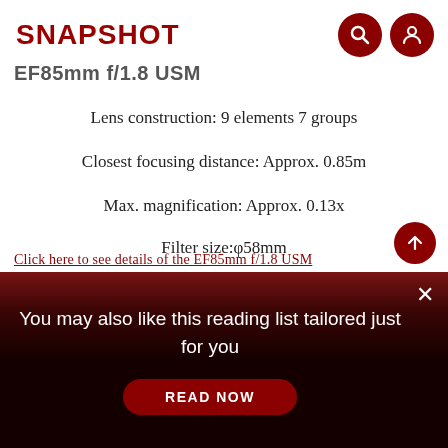SNAPSHOT
EF85mm f/1.8 USM
Lens construction: 9 elements 7 groups
Closest focusing distance: Approx. 0.85m
Max. magnification: Approx. 0.13x
Filter size:φ58mm
Size: Approx. φ75×71.5mm
Weight: Approx. 425g
Click here to see details of the EF85mm f/1.8 USM
You may also like this reading list tailored just for you
READ NOW